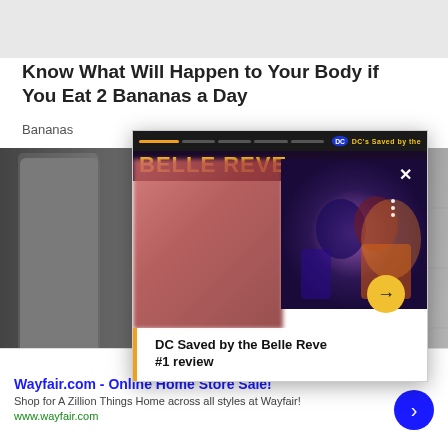Know What Will Happen to Your Body if You Eat 2 Bananas a Day
Bananas
[Figure (photo): Background photo of a bathroom with gray towels and white subway tiles]
[Figure (screenshot): Popup ad overlay featuring DC Saved by the Belle Reve comic book cover with orange progress bars, close button, and forward arrow]
DC Saved by the Belle Reve #1 review
Wayfair.com - Online Home Store Sale!
Shop for A Zillion Things Home across all styles at Wayfair!
www.wayfair.com